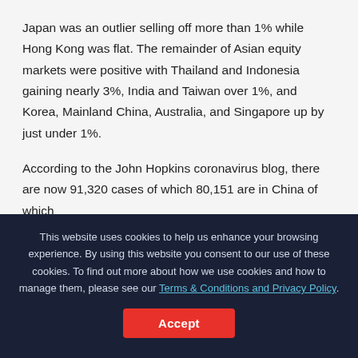Japan was an outlier selling off more than 1% while Hong Kong was flat. The remainder of Asian equity markets were positive with Thailand and Indonesia gaining nearly 3%, India and Taiwan over 1%, and Korea, Mainland China, Australia, and Singapore up by just under 1%.
According to the John Hopkins coronavirus blog, there are now 91,320 cases of which 80,151 are in China of which
This website uses cookies to help us enhance your browsing experience. By using this website you consent to our use of these cookies. To find out more about how we use cookies and how to manage them, please see our Terms & Conditions and Privacy Policy.